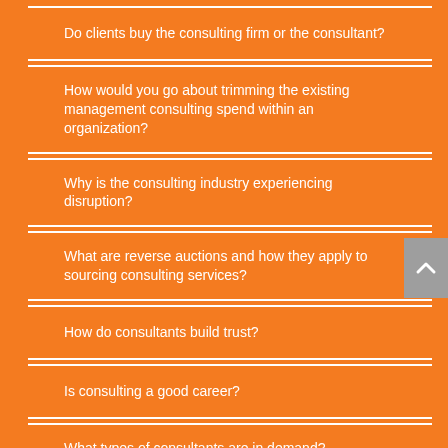Do clients buy the consulting firm or the consultant?
How would you go about trimming the existing management consulting spend within an organization?
Why is the consulting industry experiencing disruption?
What are reverse auctions and how they apply to sourcing consulting services?
How do consultants build trust?
Is consulting a good career?
What types of consultants are in demand?
What are the most common consulting skills?